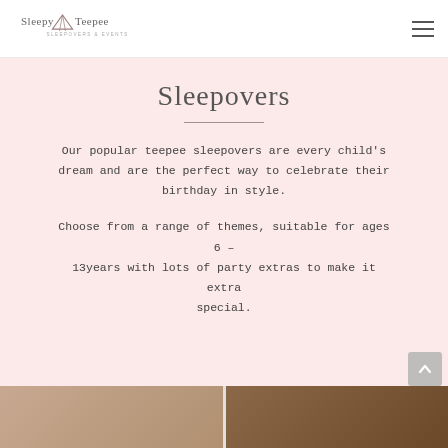Sleepy Teepee — Sleepovers & Events
Sleepovers
Our popular teepee sleepovers are every child's dream and are the perfect way to celebrate their birthday in style.
Choose from a range of themes, suitable for ages 6 – 13years with lots of party extras to make it extra special.
[Figure (photo): Partial photo strip at the bottom showing a party or sleepover scene with warm tones]